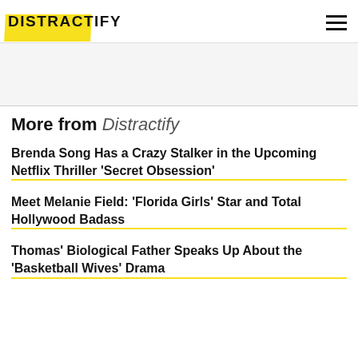DISTRACTIFY
More from Distractify
Brenda Song Has a Crazy Stalker in the Upcoming Netflix Thriller 'Secret Obsession'
Meet Melanie Field: 'Florida Girls' Star and Total Hollywood Badass
Thomas' Biological Father Speaks Up About the 'Basketball Wives' Drama